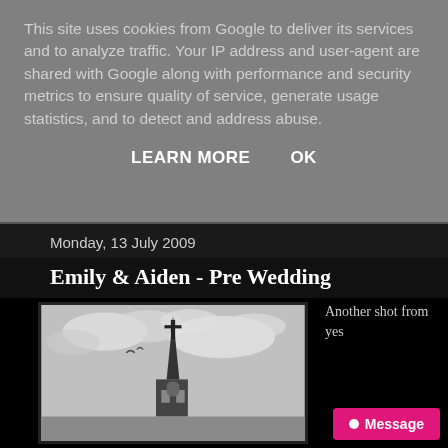This site uses cookies from Google to deliver its services and to analyze traffic. Your IP address and user-agent are shared with Google along with performance and security metrics to ensure quality of service, generate usage statistics, and to detect and address abuse.
LEARN MORE    OK
Monday, 13 July 2009
Emily & Aiden - Pre Wedding
[Figure (photo): Black and white photograph showing a church spire against a cloudy sky, framed with a dark border. Pre-wedding photography.]
Another shot from yes